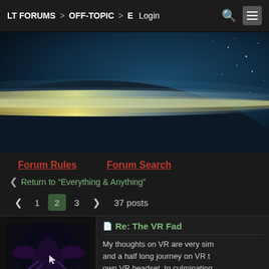LT FORUMS > OFF-TOPIC > E  Login
[Figure (illustration): Space/planet banner image showing a planet surface with glowing horizon against a starry dark blue sky]
Forum Rules   Forum Search
< Return to "Everything & Anything"
< 1 2 3 > 37 posts
Re: The VR Fad
My thoughts on VR are very sim... and a half long journey on VR t... own VR headset, to culminating... my VR goggles for a bit...